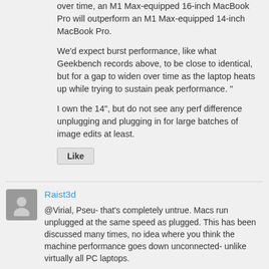over time, an M1 Max-equipped 16-inch MacBook Pro will outperform an M1 Max-equipped 14-inch MacBook Pro.
We'd expect burst performance, like what Geekbench records above, to be close to identical, but for a gap to widen over time as the laptop heats up while trying to sustain peak performance. "
I own the 14", but do not see any perf difference unplugging and plugging in for large batches of image edits at least.
Like
Raist3d
@Virial, Pseu- that's completely untrue. Macs run unplugged at the same speed as plugged. This has been discussed many times, no idea where you think the machine performance goes down unconnected- unlike virtually all PC laptops.